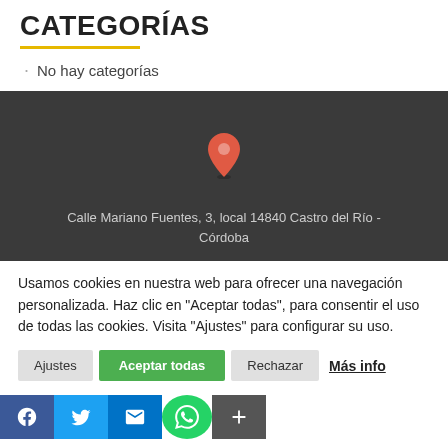CATEGORÍAS
No hay categorías
[Figure (map): Dark map background with location pin marker]
Calle Mariano Fuentes, 3, local 14840 Castro del Río - Córdoba
Usamos cookies en nuestra web para ofrecer una navegación personalizada. Haz clic en "Aceptar todas", para consentir el uso de todas las cookies. Visita "Ajustes" para configurar su uso.